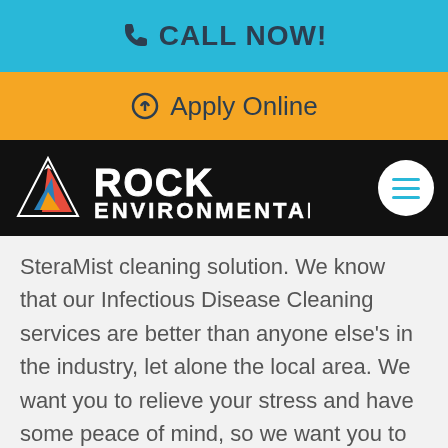📞 CALL NOW!
⚙ Apply Online
[Figure (logo): Rock Environmental logo with triangle icon and company name in white bold text on black background, with hamburger menu button on right]
SteraMist cleaning solution. We know that our Infectious Disease Cleaning services are better than anyone else's in the industry, let alone the local area. We want you to relieve your stress and have some peace of mind, so we want you to know that we're in your corner here at Rock Environmental. We love serving the Houghton, New York community, and our